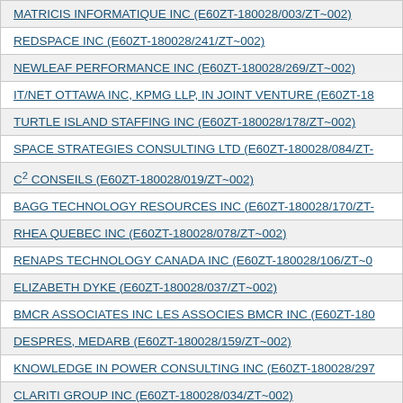| Company |
| --- |
| MATRICIS INFORMATIQUE INC (E60ZT-180028/003/ZT~002) |
| REDSPACE INC (E60ZT-180028/241/ZT~002) |
| NEWLEAF PERFORMANCE INC (E60ZT-180028/269/ZT~002) |
| IT/NET OTTAWA INC, KPMG LLP, IN JOINT VENTURE (E60ZT-18... |
| TURTLE ISLAND STAFFING INC (E60ZT-180028/178/ZT~002) |
| SPACE STRATEGIES CONSULTING LTD (E60ZT-180028/084/ZT-... |
| C² CONSEILS (E60ZT-180028/019/ZT~002) |
| BAGG TECHNOLOGY RESOURCES INC (E60ZT-180028/170/ZT-... |
| RHEA QUEBEC INC (E60ZT-180028/078/ZT~002) |
| RENAPS TECHNOLOGY CANADA INC (E60ZT-180028/106/ZT~0... |
| ELIZABETH DYKE (E60ZT-180028/037/ZT~002) |
| BMCR ASSOCIATES INC LES ASSOCIES BMCR INC (E60ZT-180... |
| DESPRES, MEDARB (E60ZT-180028/159/ZT~002) |
| KNOWLEDGE IN POWER CONSULTING INC (E60ZT-180028/297... |
| CLARITI GROUP INC (E60ZT-180028/034/ZT~002) |
| I/O ADVISORY SERVICES (E60ZT-180028/048/ZT~002) |